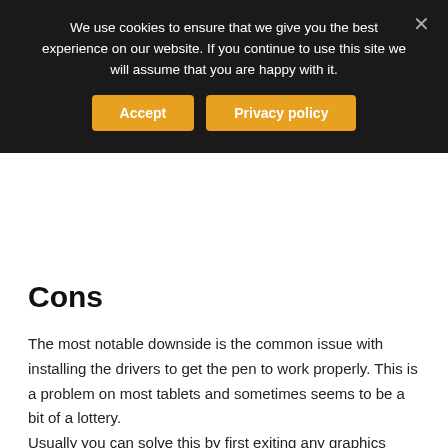We use cookies to ensure that we give you the best experience on our website. If you continue to use this site we will assume that you are happy with it.
Accept   Privacy policy
Cons
The most notable downside is the common issue with installing the drivers to get the pen to work properly. This is a problem on most tablets and sometimes seems to be a bit of a lottery. Usually you can solve this by first exiting any graphics programs you currently have open and uninstalling any previous Huion drivers if you have them. Downloading the new driver and installing it should sort it out.
The other downside is that since Huion is a company